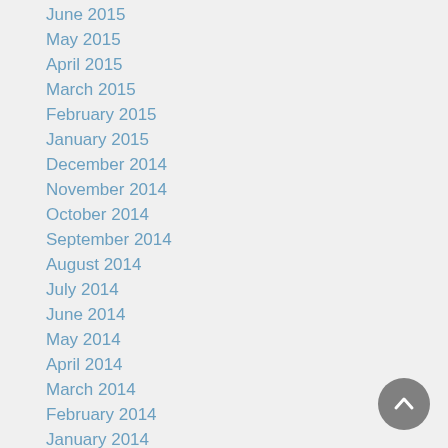June 2015
May 2015
April 2015
March 2015
February 2015
January 2015
December 2014
November 2014
October 2014
September 2014
August 2014
July 2014
June 2014
May 2014
April 2014
March 2014
February 2014
January 2014
December 2013
November 2013